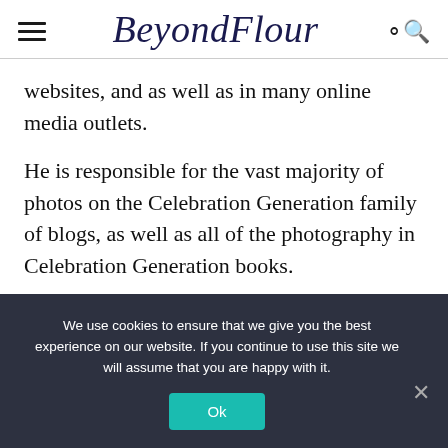Beyond Flour
websites, and as well as in many online media outlets.
He is responsible for the vast majority of photos on the Celebration Generation family of blogs, as well as all of the photography in Celebration Generation books.
We use cookies to ensure that we give you the best experience on our website. If you continue to use this site we will assume that you are happy with it.